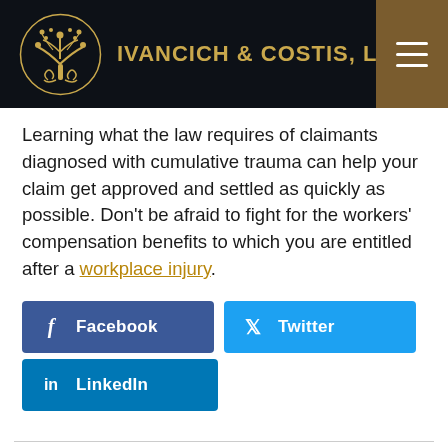IVANCICH & COSTIS, LLP
Learning what the law requires of claimants diagnosed with cumulative trauma can help your claim get approved and settled as quickly as possible. Don’t be afraid to fight for the workers’ compensation benefits to which you are entitled after a workplace injury.
[Figure (screenshot): Social share buttons: Facebook (blue), Twitter (cyan), LinkedIn (blue)]